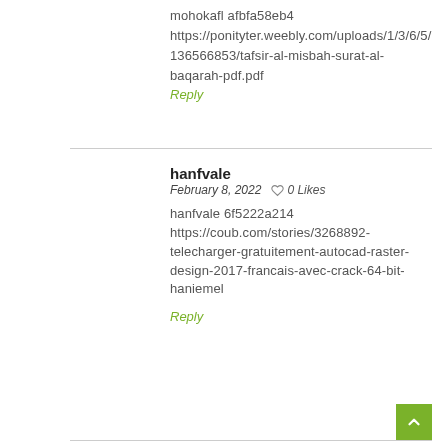mohokafl afbfa58eb4 https://ponityter.weebly.com/uploads/1/3/6/5/136566853/tafsir-al-misbah-surat-al-baqarah-pdf.pdf
Reply
hanfvale
February 8, 2022  0 Likes
hanfvale 6f5222a214 https://coub.com/stories/3268892-telecharger-gratuitement-autocad-raster-design-2017-francais-avec-crack-64-bit-haniemel
Reply